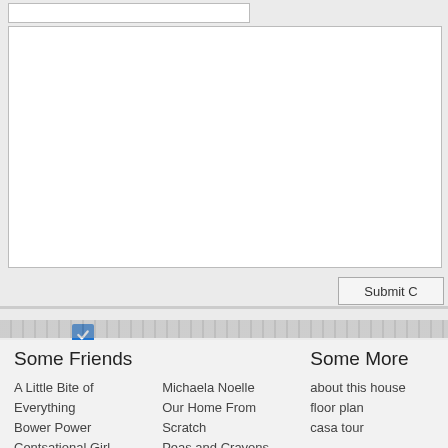[Figure (screenshot): Web form textarea with white background and border, partially visible input field at top, Submit C button at bottom right]
[Figure (logo): CommentLuv logo: red phoenix/wing bird icon with blue checkbox above it, text COMMENT in dark gray and LUV in red]
Some Friends
Some More
A Little Bite of Everything
Bower Power
Centsational Girl
Michaela Noelle
Our Home From Scratch
Peas and Crayons
about this house
floor plan
casa tour